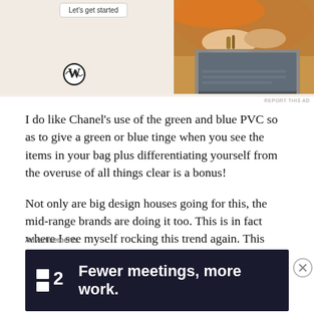[Figure (screenshot): Top advertisement area showing WordPress ad with 'Let's get started' button, WordPress logo, and a photo of hands typing on a laptop with a warm orange/brown sweater]
REPORT THIS AD
I do like Chanel's use of the green and blue PVC so as to give a green or blue tinge when you see the items in your bag plus differentiating yourself from the overuse of all things clear is a bonus!
Not only are big design houses going for this, the mid-range brands are doing it too. This is in fact where I see myself rocking this trend again. This Staud one is perfect and if you don't want all your
Advertisements
[Figure (screenshot): Bottom dark advertisement banner showing '■2 Fewer meetings, more work.' text on dark navy background]